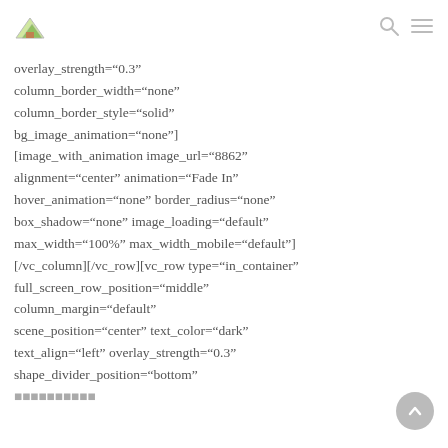[logo] [search icon] [menu icon]
overlay_strength="0.3"
column_border_width="none"
column_border_style="solid"
bg_image_animation="none"]
[image_with_animation image_url="8862"
alignment="center" animation="Fade In"
hover_animation="none" border_radius="none"
box_shadow="none" image_loading="default"
max_width="100%" max_width_mobile="default"]
[/vc_column][/vc_row][vc_row type="in_container"
full_screen_row_position="middle"
column_margin="default"
scene_position="center" text_color="dark"
text_align="left" overlay_strength="0.3"
shape_divider_position="bottom"